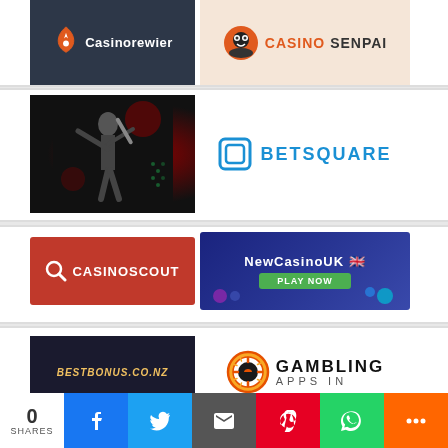[Figure (logo): Casinorewier logo on dark background and Casino Senpai logo on peach background]
[Figure (photo): Cricket player batting image on dark background next to Betsquare logo in blue]
[Figure (logo): CasinoScout logo on red background and NewCasinoUK banner with Play Now button]
[Figure (logo): BestBonus.co.nz logo on dark background and Gambling Apps In logo with poker chip]
0 SHARES